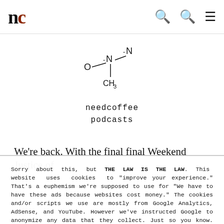nc – needcoffee.com
[Figure (illustration): Chemical structure diagram showing caffeine molecule with atoms O, N, N, CH3 labeled, above text 'needcoffee podcasts']
We're back. With the final final Weekend Justice of
Sorry about this, but THE LAW IS THE LAW. This website uses cookies to "improve your experience." That's a euphemism we're supposed to use for "We have to have these ads because websites cost money." The cookies and/or scripts we use are mostly from Google Analytics, AdSense, and YouTube. However we've instructed Google to anonymize any data that they collect. Just so you know. We'll assume you're ok with this, but you can opt-out if you wish. Just bear in mind, certain embeds and such might not work.<br /> <br /> Also, please be aware that when we link out to products, we may earn a commission for doing so. Because we're certainly not doing it for our health. See our privacy policy & terms of use for more info than you would ever want to know. – Privacy Policy & Terms of Use